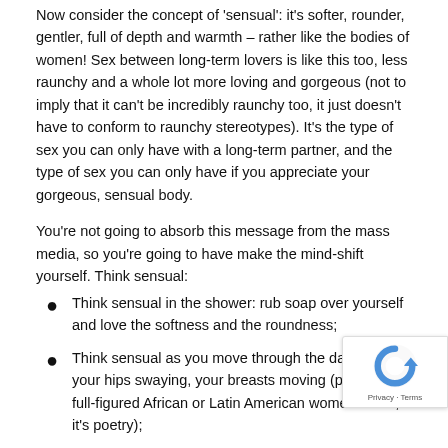Now consider the concept of 'sensual': it's softer, rounder, gentler, full of depth and warmth – rather like the bodies of women! Sex between long-term lovers is like this too, less raunchy and a whole lot more loving and gorgeous (not to imply that it can't be incredibly raunchy too, it just doesn't have to conform to raunchy stereotypes). It's the type of sex you can only have with a long-term partner, and the type of sex you can only have if you appreciate your gorgeous, sensual body.
You're not going to absorb this message from the mass media, so you're going to have make the mind-shift yourself. Think sensual:
Think sensual in the shower: rub soap over yourself and love the softness and the roundness;
Think sensual as you move through the day: feel your hips swaying, your breasts moving (picture how full-figured African or Latin American women move, it's poetry);
Think sensual as your partner caresses your curves
Think sensual as you caress your own curves when make love.